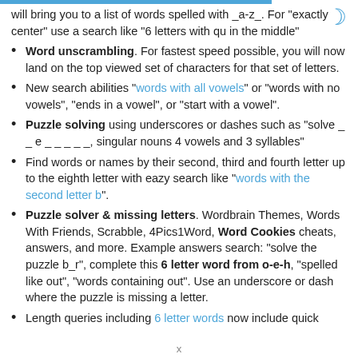will bring you to a list of words spelled with _a-z_. For "exactly center" use a search like "6 letters with qu in the middle"
Word unscrambling. For fastest speed possible, you will now land on the top viewed set of characters for that set of letters.
New search abilities "words with all vowels" or "words with no vowels", "ends in a vowel", or "start with a vowel".
Puzzle solving using underscores or dashes such as "solve _ _ e _ _ _ _ _, singular nouns 4 vowels and 3 syllables"
Find words or names by their second, third and fourth letter up to the eighth letter with eazy search like "words with the second letter b".
Puzzle solver & missing letters. Wordbrain Themes, Words With Friends, Scrabble, 4Pics1Word, Word Cookies cheats, answers, and more. Example answers search: "solve the puzzle b_r", complete this 6 letter word from o-e-h, "spelled like out", "words containing out". Use an underscore or dash where the puzzle is missing a letter.
Length queries including 6 letter words now include quick